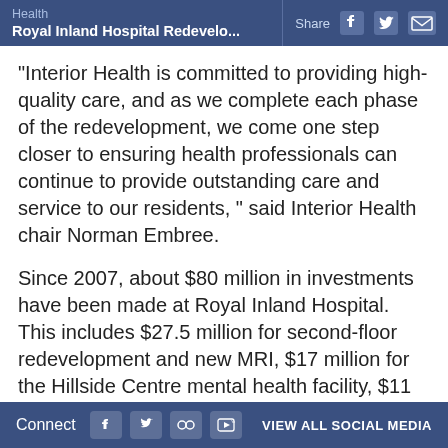Health | Royal Inland Hospital Redevelo... | Share
"Interior Health is committed to providing high-quality care, and as we complete each phase of the redevelopment, we come one step closer to ensuring health professionals can continue to provide outstanding care and service to our residents, " said Interior Health chair Norman Embree.
Since 2007, about $80 million in investments have been made at Royal Inland Hospital. This includes $27.5 million for second-floor redevelopment and new MRI, $17 million for the Hillside Centre mental health facility, $11 million to relocate the intensive care unit and
Connect | VIEW ALL SOCIAL MEDIA